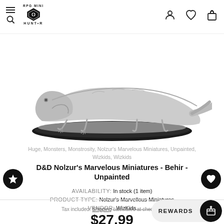RPG Mini Hunter — navigation header with search, logo, user, wishlist, cart icons
[Figure (photo): Gray scale 3D miniature of a Behir monster crawling on a black oval base, photographed against white background]
Huge, Monsters, Monstrosity, Nolzur's Marvelous Miniatures, Unpainted, Wizkids, Wizkids
D&D Nolzur's Marvelous Miniatures - Behir - Unpainted
AVAILABILITY: In stock (1 item)
PRODUCT TYPE: Nolzur's Marvellous Miniatures
VENDOR: WizKids
$27.99
Tax included. Shipping calculated at checkout.
REWARDS